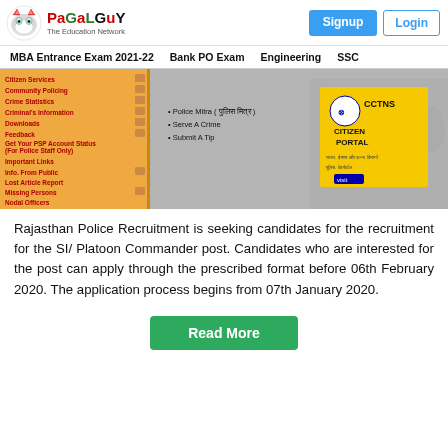PaGaLGuY - The Education Network | Signup | Login
MBA Entrance Exam 2021-22 | Bank PO Exam | Engineering | SSC
[Figure (screenshot): Screenshot of Rajasthan Police website showing CCTNS Citizen Portal with a menu sidebar and police officers in the background]
Rajasthan Police Recruitment is seeking candidates for the recruitment for the SI/ Platoon Commander post. Candidates who are interested for the post can apply through the prescribed format before 06th February 2020. The application process begins from 07th January 2020.
Read More